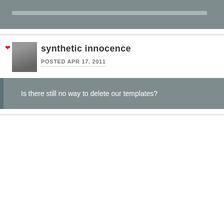synthetic innocence
POSTED APR 17, 2011
Is there still no way to delete our templates?